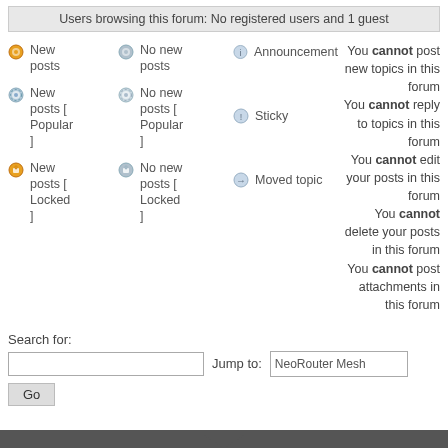Users browsing this forum: No registered users and 1 guest
New posts
New posts [ Popular ]
New posts [ Locked ]
No new posts
No new posts [ Popular ]
No new posts [ Locked ]
Announcement
Sticky
Moved topic
You cannot post new topics in this forum
You cannot reply to topics in this forum
You cannot edit your posts in this forum
You cannot delete your posts in this forum
You cannot post attachments in this forum
Search for:
Jump to: NeoRouter Mesh